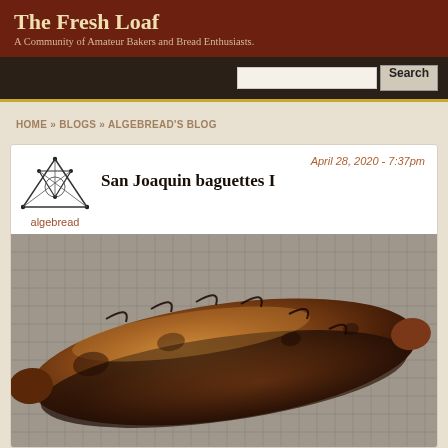The Fresh Loaf
A Community of Amateur Bakers and Bread Enthusiasts.
HOME » BLOGS » ALGEBREAD'S BLOG
April 28, 2020 - 7:37pm
San Joaquin baguettes I
algebread
[Figure (photo): A dark-crusted sourdough baguette resting on a wire cooling rack, shot from above at a slight angle. The bread has deep scoring marks and a rich brown to dark exterior crust.]